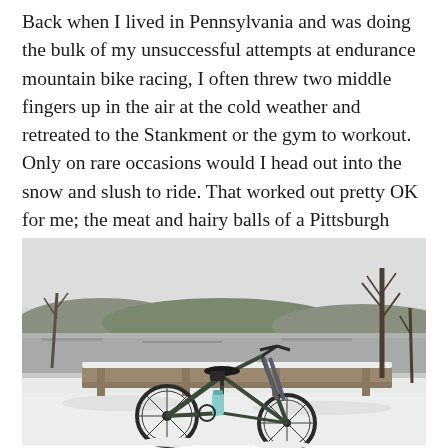Back when I lived in Pennsylvania and was doing the bulk of my unsuccessful attempts at endurance mountain bike racing, I often threw two middle fingers up in the air at the cold weather and retreated to the Stankment or the gym to workout. Only on rare occasions would I head out into the snow and slush to ride. That worked out pretty OK for me; the meat and hairy balls of a Pittsburgh winter is only about three months long.
[Figure (photo): A mountain bike leaning against a snow-covered wooden railing or barrier near a frozen or partially frozen river/lake. Bare winter trees line the background under an overcast grey sky. Snow covers the ground. The bike appears dark-colored with fat tires and has a water bottle in the cage.]